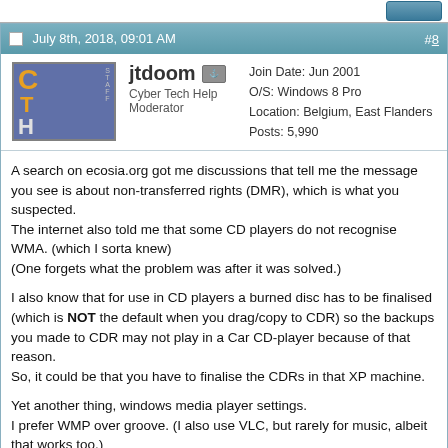July 8th, 2018, 09:01 AM  #8
jtdoom  Cyber Tech Help Moderator  Join Date: Jun 2001  O/S: Windows 8 Pro  Location: Belgium, East Flanders  Posts: 5,990
A search on ecosia.org got me discussions that tell me the message you see is about non-transferred rights (DMR), which is what you suspected.
The internet also told me that some CD players do not recognise WMA. (which I sorta knew)
(One forgets what the problem was after it was solved.)

I also know that for use in CD players a burned disc has to be finalised (which is NOT the default when you drag/copy to CDR) so the backups you made to CDR may not play in a Car CD-player because of that reason.
So, it could be that you have to finalise the CDRs in that XP machine.

Yet another thing, windows media player settings.
I prefer WMP over groove. (I also use VLC, but rarely for music, albeit that works too.)
In the settings I tend to set things to very private (almost no connection to internet allowed, no extra media info, thumbnails, album details, no automated search for media for library building, no automatic addition to libraries, and one can let it check or stop it from getting DMR....
The following would be...